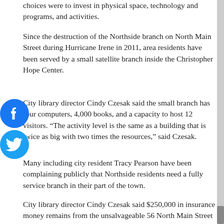choices were to invest in physical space, technology and programs, and activities.
Since the destruction of the Northside branch on North Main Street during Hurricane Irene in 2011, area residents have been served by a small satellite branch inside the Christopher Hope Center.
City library director Cindy Czesak said the small branch has four computers, 4,000 books, and a capacity to host 12 visitors. “The activity level is the same as a building that is twice as big with two times the resources,” said Czesak.
Many including city resident Tracy Pearson have been complaining publicly that Northside residents need a fully service branch in their part of the town.
City library director Cindy Czesak said $250,000 in insurance money remains from the unsalvageable 56 North Main Street building that was damaged by flood waters. With increasing activity at the satellite branch community organizations and the library system is attempting to figure out how to address area residents’ library needs.